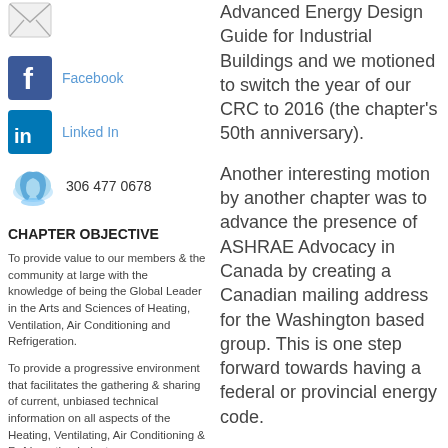[Figure (illustration): Email envelope icon (white envelope on light background)]
Email us
[Figure (illustration): Facebook logo icon (blue square with white f)]
Facebook
[Figure (illustration): LinkedIn logo icon (blue square with white 'in')]
Linked In
[Figure (illustration): Blue telephone icon]
306 477 0678
CHAPTER OBJECTIVE
To provide value to our members & the community at large with the knowledge of being the Global Leader in the Arts and Sciences of Heating, Ventilation, Air Conditioning and Refrigeration.
To provide a progressive environment that facilitates the gathering & sharing of current, unbiased technical information on all aspects of the Heating, Ventilating, Air Conditioning & Refrigerating Industry.
Advanced Energy Design Guide for Industrial Buildings and we motioned to switch the year of our CRC to 2016 (the chapter's 50th anniversary).
Another interesting motion by another chapter was to advance the presence of ASHRAE Advocacy in Canada by creating a Canadian mailing address for the Washington based group. This is one step forward towards having a federal or provincial energy code.
We also cleaned up at the awards luncheon with